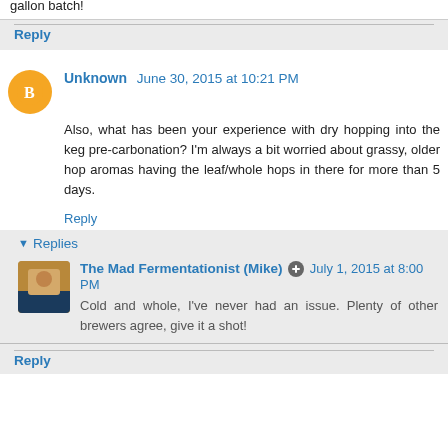gallon batch!
Reply
Unknown June 30, 2015 at 10:21 PM
Also, what has been your experience with dry hopping into the keg pre-carbonation? I'm always a bit worried about grassy, older hop aromas having the leaf/whole hops in there for more than 5 days.
Reply
Replies
The Mad Fermentationist (Mike) July 1, 2015 at 8:00 PM
Cold and whole, I've never had an issue. Plenty of other brewers agree, give it a shot!
Reply